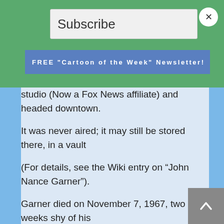Subscribe
FREE "Cartoon of the Week" Newsletter!
studio (Now a Fox News affiliate) and headed downtown.
It was never aired; it may still be stored there, in a vault
(For details, see the Wiki entry on “John Nance Garner”).
Garner died on November 7, 1967, two weeks shy of his
99th birthday. He still holds the record for the longest-
lived former V-P in U.S. history. He contributed